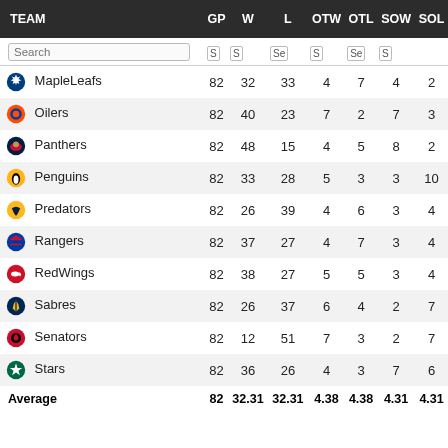| TEAM | GP | W | L | OTW | OTL | SOW | SOL |
| --- | --- | --- | --- | --- | --- | --- | --- |
| MapleLeafs | 82 | 32 | 33 | 4 | 7 | 4 | 2 |
| Oilers | 82 | 40 | 23 | 7 | 2 | 7 | 3 |
| Panthers | 82 | 48 | 15 | 4 | 5 | 8 | 2 |
| Penguins | 82 | 33 | 28 | 5 | 3 | 3 | 10 |
| Predators | 82 | 26 | 39 | 4 | 6 | 3 | 4 |
| Rangers | 82 | 37 | 27 | 4 | 7 | 3 | 4 |
| RedWings | 82 | 38 | 27 | 5 | 5 | 3 | 4 |
| Sabres | 82 | 26 | 37 | 6 | 4 | 2 | 7 |
| Senators | 82 | 12 | 51 | 7 | 3 | 2 | 7 |
| Stars | 82 | 36 | 26 | 4 | 3 | 7 | 6 |
| Average | 82 | 32.31 | 32.31 | 4.38 | 4.38 | 4.31 | 4.31 |